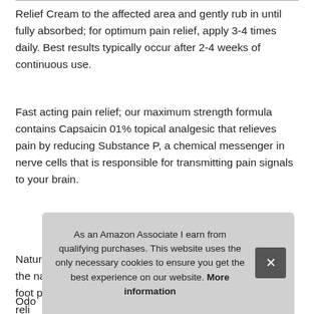Relief Cream to the affected area and gently rub in until fully absorbed; for optimum pain relief, apply 3-4 times daily. Best results typically occur after 2-4 weeks of continuous use.
Fast acting pain relief; our maximum strength formula contains Capsaicin 01% topical analgesic that relieves pain by reducing Substance P, a chemical messenger in nerve cells that is responsible for transmitting pain signals to your brain.
More information #ad
Natural pain relief cream; maximum strength zostrix uses the natural power of the chili pepper to provide temporary foot pain relief... (partially obscured)
As an Amazon Associate I earn from qualifying purchases. This website uses the only necessary cookies to ensure you get the best experience on our website. More information